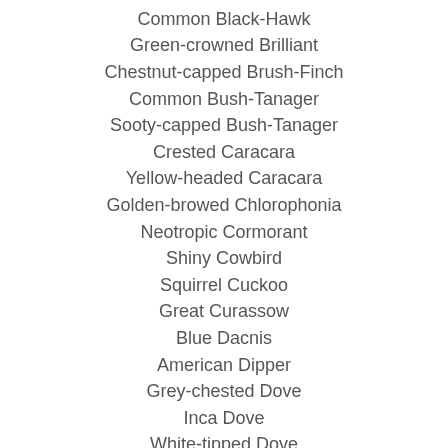Common Black-Hawk
Green-crowned Brilliant
Chestnut-capped Brush-Finch
Common Bush-Tanager
Sooty-capped Bush-Tanager
Crested Caracara
Yellow-headed Caracara
Golden-browed Chlorophonia
Neotropic Cormorant
Shiny Cowbird
Squirrel Cuckoo
Great Curassow
Blue Dacnis
American Dipper
Grey-chested Dove
Inca Dove
White-tipped Dove
White-winged Dove
Muscovy Duck
Cattle Egret